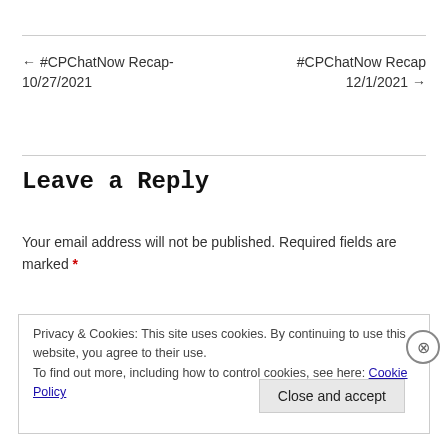← #CPChatNow Recap-10/27/2021
#CPChatNow Recap 12/1/2021 →
Leave a Reply
Your email address will not be published. Required fields are marked *
Privacy & Cookies: This site uses cookies. By continuing to use this website, you agree to their use.
To find out more, including how to control cookies, see here: Cookie Policy
Close and accept